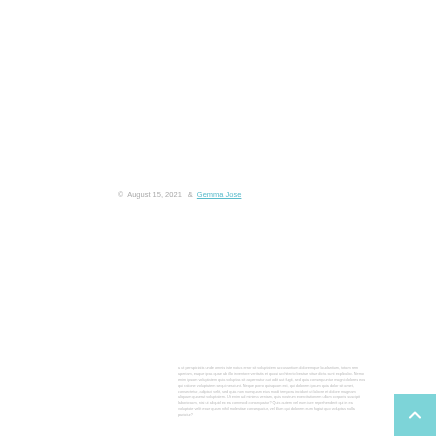© August 15, 2021  & Gemma Jose
Lorem ipsum dolor sit amet, consectetur adipiscing elit, sed do eiusmod tempor incididunt ut labore et dolore magna aliqua. Ut enim ad minim veniam, quis nostrud exercitation ullamco laboris nisi ut aliquip ex ea commodo consequat. Duis aute irure dolor in reprehenderit in voluptate velit esse cillum dolore eu fugiat nulla pariatur. Excepteur sint occaecat cupidatat non proident, sunt in culpa qui officia deserunt mollit anim id est laborum.